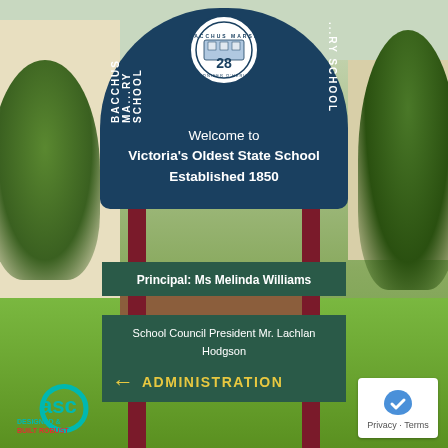[Figure (photo): Photograph of the Bacchus Marsh Primary School entrance sign. The sign has a dark teal/navy arch shape with a school crest at the top, text reading 'Welcome to Victoria's Oldest State School Established 1850', and panels below listing the Principal: Ms Melinda Williams and School Council President Mr. Lachlan Hodgson, plus an Administration direction arrow. The sign is supported by dark red/maroon posts. An ASC company logo is visible in the bottom-left corner and a reCAPTCHA Privacy/Terms box is in the bottom-right.]